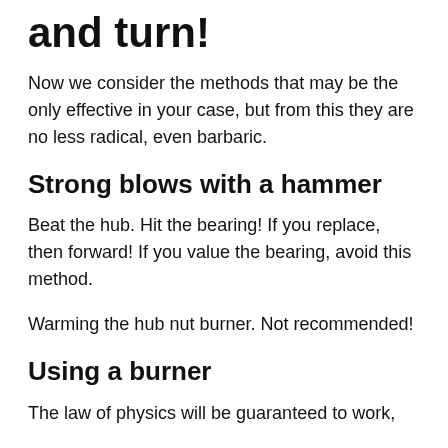and turn!
Now we consider the methods that may be the only effective in your case, but from this they are no less radical, even barbaric.
Strong blows with a hammer
Beat the hub. Hit the bearing! If you replace, then forward! If you value the bearing, avoid this method.
Warming the hub nut burner. Not recommended!
Using a burner
The law of physics will be guaranteed to work,